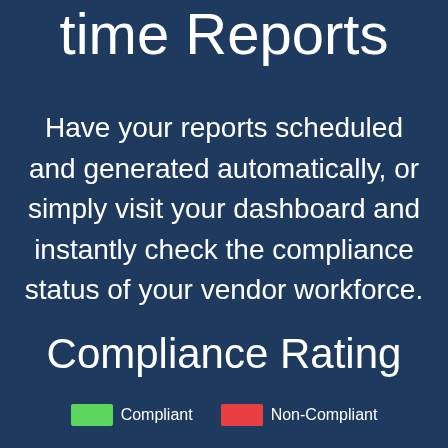time Reports
Have your reports scheduled and generated automatically, or simply visit your dashboard and instantly check the compliance status of your vendor workforce.
Compliance Rating
Compliant   Non-Compliant